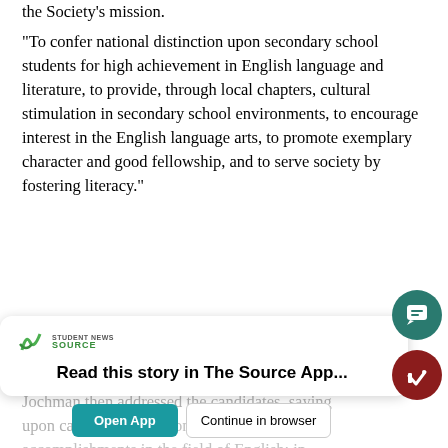the Society's mission.
“To confer national distinction upon secondary school students for high achievement in English language and literature, to provide, through local chapters, cultural stimulation in secondary school environments, to encourage interest in the English language arts, to promote exemplary character and good fellowship, and to serve society by fostering literacy.”
Following that, Jochman officially called the meeting to order, and President Olivia Flis presented three of the five new candidates seeking membership in the Society.
Jochman then addressed the candidates, saying upon careful examination of your academic accomplishments in the field of English, in reco... and in
Read this story in The Source App...